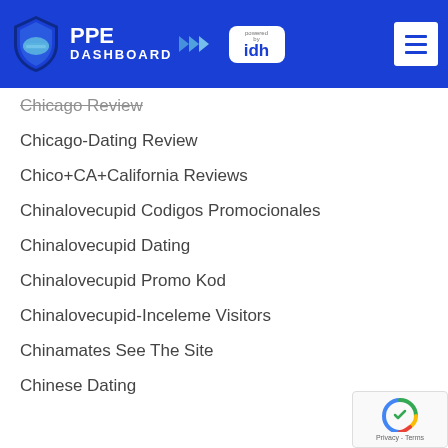[Figure (logo): PPE Dashboard powered by IDH logo with shield icon and navigation menu button on blue header background]
Chicago Review
Chicago-Dating Review
Chico+CA+California Reviews
Chinalovecupid Codigos Promocionales
Chinalovecupid Dating
Chinalovecupid Promo Kod
Chinalovecupid-Inceleme Visitors
Chinamates See The Site
Chinese Dating